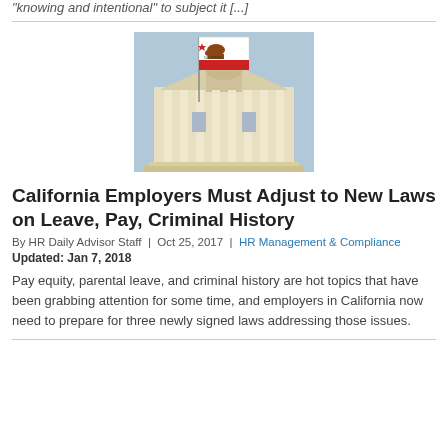"knowing and intentional" to subject it [...]
[Figure (photo): California state capitol building with California Republic flag in the foreground]
California Employers Must Adjust to New Laws on Leave, Pay, Criminal History
By HR Daily Advisor Staff | Oct 25, 2017 | HR Management & Compliance
Updated: Jan 7, 2018
Pay equity, parental leave, and criminal history are hot topics that have been grabbing attention for some time, and employers in California now need to prepare for three newly signed laws addressing those issues.